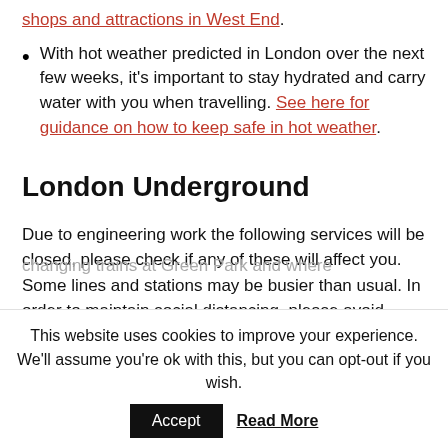shops and attractions in West End.
With hot weather predicted in London over the next few weeks, it's important to stay hydrated and carry water with you when travelling. See here for guidance on how to keep safe in hot weather.
London Underground
Due to engineering work the following services will be closed, please check if any of these will affect you. Some lines and stations may be busier than usual. In order to maintain social distancing, please avoid changing trains at Green Park and where
This website uses cookies to improve your experience. We'll assume you're ok with this, but you can opt-out if you wish.
Accept  Read More